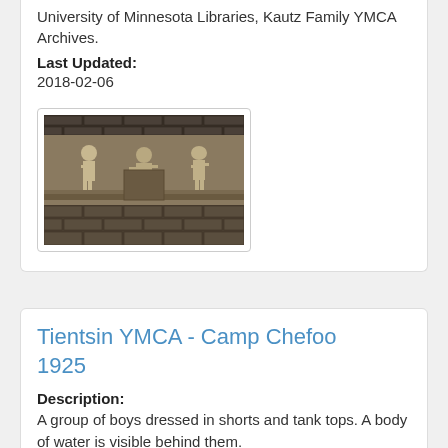University of Minnesota Libraries, Kautz Family YMCA Archives.
Last Updated:
2018-02-06
[Figure (photo): Black and white photograph of a brick wall relief sculpture showing figures of boys or people in silhouette.]
Tientsin YMCA - Camp Chefoo 1925
Description:
A group of boys dressed in shorts and tank tops. A body of water is visible behind them.
Created:
1925
Contributed By: